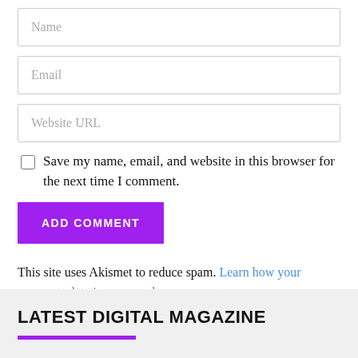Name
Email
Website URL
Save my name, email, and website in this browser for the next time I comment.
ADD COMMENT
This site uses Akismet to reduce spam. Learn how your comment data is processed.
LATEST DIGITAL MAGAZINE